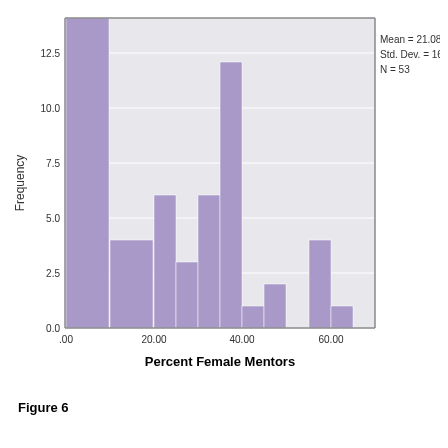[Figure (histogram): Histogram of Percent Female Mentors with mean=21.08, Std. Dev.=16.416, N=53]
Figure 6